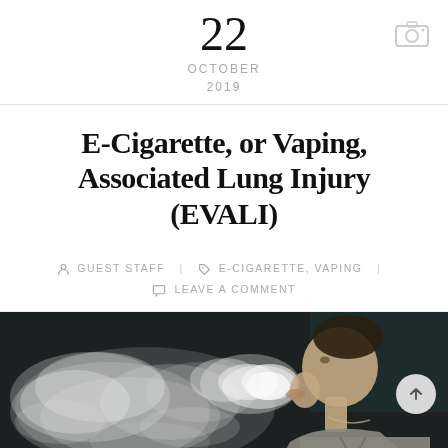22
OCTOBER
2019
E-Cigarette, or Vaping, Associated Lung Injury (EVALI)
GUEST STAFF | E-CIGARETTE, VAPING | LEAVE A COMMENT
[Figure (photo): A young man in profile exhaling a large cloud of vapor/smoke against a dark background, wearing a gray shirt with a necklace visible.]